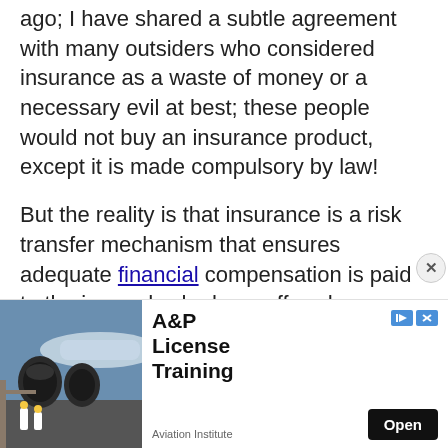ago; I have shared a subtle agreement with many outsiders who considered insurance as a waste of money or a necessary evil at best; these people would not buy an insurance product, except it is made compulsory by law!
But the reality is that insurance is a risk transfer mechanism that ensures adequate financial compensation is paid to the insured, who has suffered an insured loss, caused by events beyond the control of the insured party.
People in paid employment who desire financial freedom must consider personal insurance which includes motor insurance, household insurance
[Figure (infographic): Advertisement banner for A&P License Training by Aviation Institute, showing airplane engines with workers in the foreground, an Open button, and close/skip icons.]